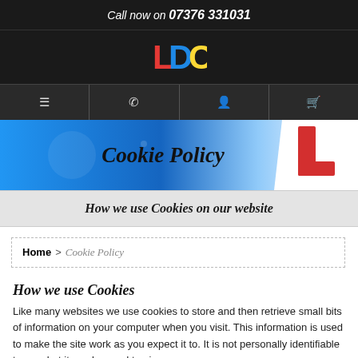Call now on 07376 331031
[Figure (logo): LDC driving school logo with coloured letters L (red), D (blue), C (yellow) on dark background]
[Figure (infographic): Navigation bar with four icons: hamburger menu, phone, person, shopping cart]
[Figure (photo): Hero banner with blue gradient background and red/white L-plate graphic on the right]
Cookie Policy
How we use Cookies on our website
Home > Cookie Policy
How we use Cookies
Like many websites we use cookies to store and then retrieve small bits of information on your computer when you visit. This information is used to make the site work as you expect it to. It is not personally identifiable to you, but it can be used to give you a